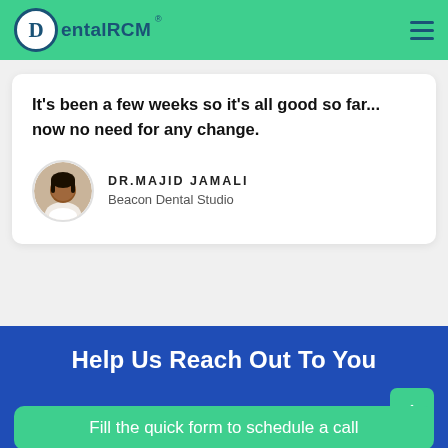DentalRCM
It's been a few weeks so it's all good so far... now no need for any change.
DR.MAJID JAMALI
Beacon Dental Studio
Help Us Reach Out To You
Fill the quick form to schedule a call